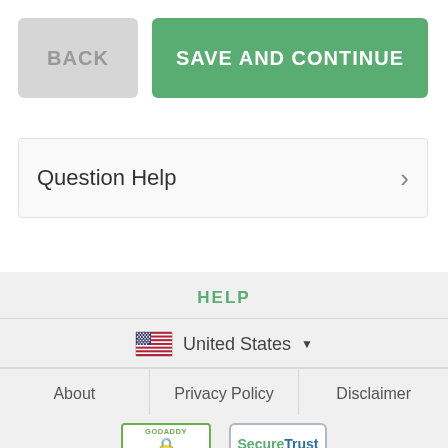BACK
SAVE AND CONTINUE
Question Help
HELP
United States
About
Privacy Policy
Disclaimer
[Figure (logo): GoDaddy Verified & Secured badge]
[Figure (logo): SecureTrust Trusted Commerce badge]